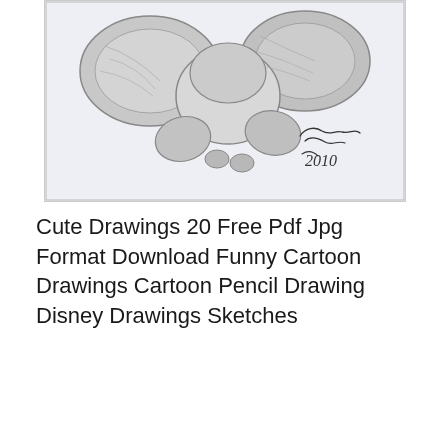[Figure (illustration): Pencil sketch of a cartoon character (appears to be Dumbo or a Disney character) seen from behind/above, with large ears spread out and small feet visible, signed with a cursive signature and dated 2010. Drawn on light blue-tinted paper with a thin border.]
Cute Drawings 20 Free Pdf Jpg Format Download Funny Cartoon Drawings Cartoon Pencil Drawing Disney Drawings Sketches